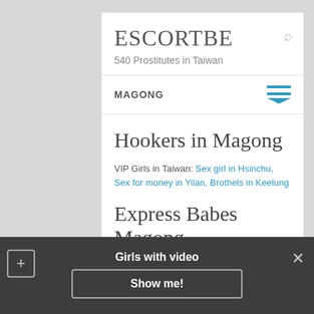ESCORTBE
540 Prostitutes in Taiwan
MAGONG
Hookers in Magong
VIP Girls in Taiwan: Sex girl in Hsinchu, Sex for money in Yilan, Brothels in Keelung
Express Babes Magong
Girls with video
Show me!